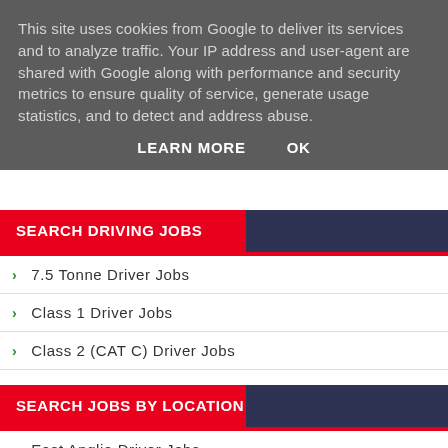This site uses cookies from Google to deliver its services and to analyze traffic. Your IP address and user-agent are shared with Google along with performance and security metrics to ensure quality of service, generate usage statistics, and to detect and address abuse.
LEARN MORE   OK
SEARCH DRIVING JOBS
7.5 Tonne Driver Jobs
Class 1 Driver Jobs
Class 2 (CAT C) Driver Jobs
SEARCH JOBS BY LOCATION
East Anglia Driver Jobs
East Midlands Driver Jobs